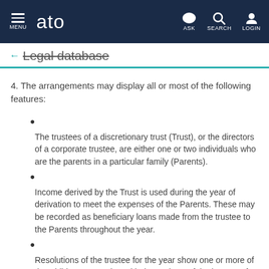MENU | ato | ASK | SEARCH | LOGIN
← Legal database
4. The arrangements may display all or most of the following features:
The trustees of a discretionary trust (Trust), or the directors of a corporate trustee, are either one or two individuals who are the parents in a particular family (Parents).
Income derived by the Trust is used during the year of derivation to meet the expenses of the Parents. These may be recorded as beneficiary loans made from the trustee to the Parents throughout the year.
Resolutions of the trustee for the year show one or more of the Children presently entitled to a share of the income of